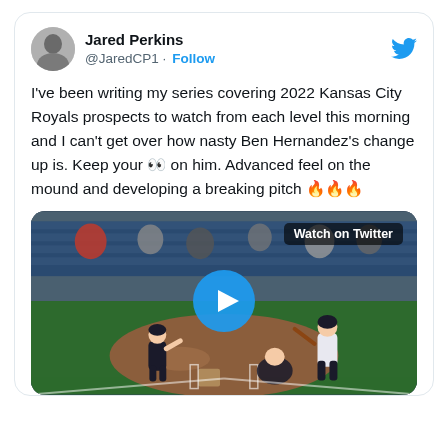[Figure (screenshot): Twitter/X profile header with avatar photo of Jared Perkins, display name, handle @JaredCP1, Follow button, and Twitter bird logo]
I've been writing my series covering 2022 Kansas City Royals prospects to watch from each level this morning and I can't get over how nasty Ben Hernandez's change up is. Keep your 👀 on him. Advanced feel on the mound and developing a breaking pitch 🔥🔥🔥
[Figure (screenshot): Video thumbnail of a baseball game showing a pitcher on the mound and a batter at the plate, with a blue play button overlay and 'Watch on Twitter' label in the upper right]